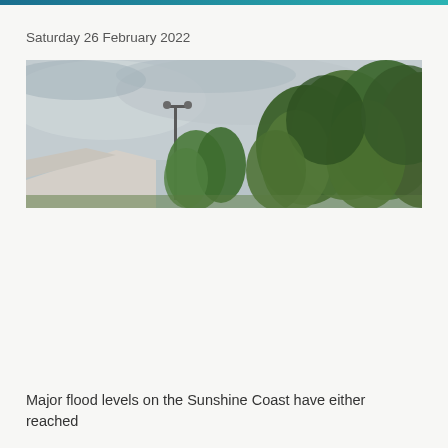Saturday 26 February 2022
[Figure (photo): Outdoor scene showing overcast grey sky with dense green trees on the right side and a light pole in the center-left, rooftop of a building visible at the bottom left. Taken during rain or storm conditions.]
Major flood levels on the Sunshine Coast have either reached